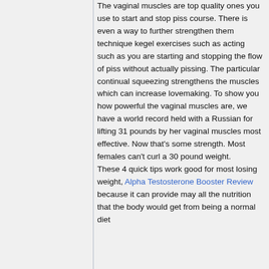The vaginal muscles are top quality ones you use to start and stop piss course. There is even a way to further strengthen them technique kegel exercises such as acting such as you are starting and stopping the flow of piss without actually pissing. The particular continual squeezing strengthens the muscles which can increase lovemaking. To show you how powerful the vaginal muscles are, we have a world record held with a Russian for lifting 31 pounds by her vaginal muscles most effective. Now that's some strength. Most females can't curl a 30 pound weight.

These 4 quick tips work good for most losing weight, Alpha Testosterone Booster Review    because it can provide may all the nutrition that the body would get from being a normal diet